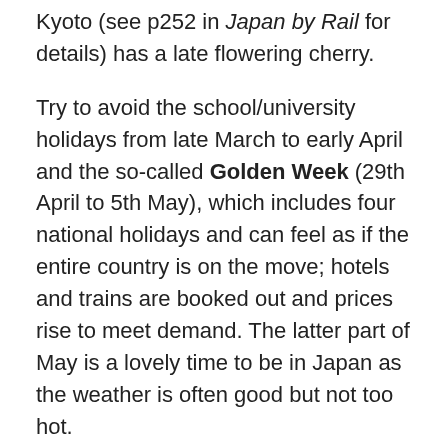Kyoto (see p252 in Japan by Rail for details) has a late flowering cherry.
Try to avoid the school/university holidays from late March to early April and the so-called Golden Week (29th April to 5th May), which includes four national holidays and can feel as if the entire country is on the move; hotels and trains are booked out and prices rise to meet demand. The latter part of May is a lovely time to be in Japan as the weather is often good but not too hot.
The rainy season in June/July (with occasional typhoons) marks the change from spring to summer but the showers are soon replaced by heat and humidity. Humidity is high throughout the